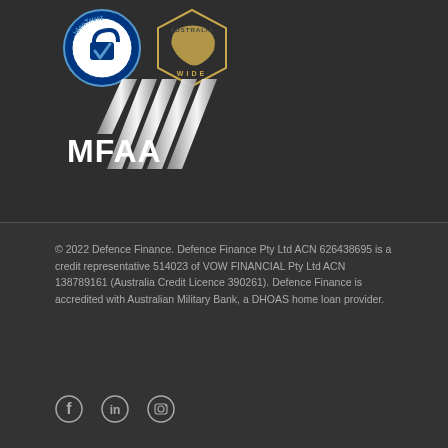[Figure (logo): IdenTrust Secured badge - circular blue and white security logo with padlock and checkmark]
[Figure (logo): Australia Wide badge - outline of Australia map in gold/yellow with text AUSTRALIA WIDE]
[Figure (logo): MFAA logo - silver metallic diagonal lines with MFAA text in white]
© 2022 Defence Finance. Defence Finance Pty Ltd ACN 626438695 is a credit representative 514023 of VOW FINANCIAL Pty Ltd ACN 138789161 (Australia Credit Licence 390261). Defence Finance is accredited with Australian Military Bank, a DHOAS home loan provider.
[Figure (illustration): Social media icons: Facebook (f), LinkedIn (in), Instagram (camera)]